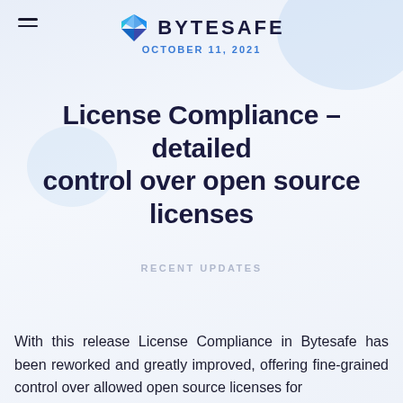BYTESAFE — OCTOBER 11, 2021
License Compliance – detailed control over open source licenses
RECENT UPDATES
With this release License Compliance in Bytesafe has been reworked and greatly improved, offering fine-grained control over allowed open source licenses for